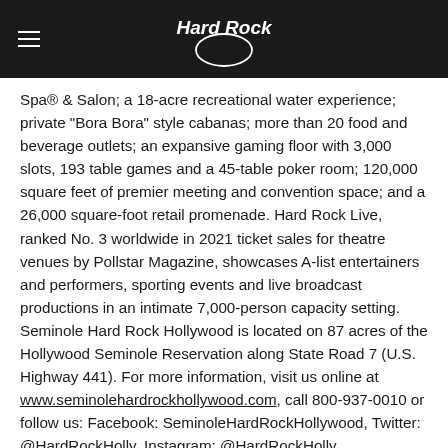[Figure (logo): Hard Rock logo with hamburger menu icon on dark header bar]
Spa® & Salon; a 18-acre recreational water experience; private "Bora Bora" style cabanas; more than 20 food and beverage outlets; an expansive gaming floor with 3,000 slots, 193 table games and a 45-table poker room; 120,000 square feet of premier meeting and convention space; and a 26,000 square-foot retail promenade. Hard Rock Live, ranked No. 3 worldwide in 2021 ticket sales for theatre venues by Pollstar Magazine, showcases A-list entertainers and performers, sporting events and live broadcast productions in an intimate 7,000-person capacity setting. Seminole Hard Rock Hollywood is located on 87 acres of the Hollywood Seminole Reservation along State Road 7 (U.S. Highway 441). For more information, visit us online at www.seminolehardrockhollywood.com, call 800-937-0010 or follow us: Facebook: SeminoleHardRockHollywood, Twitter: @HardRockHolly, Instagram: @HardRockHolly.
-SHR-